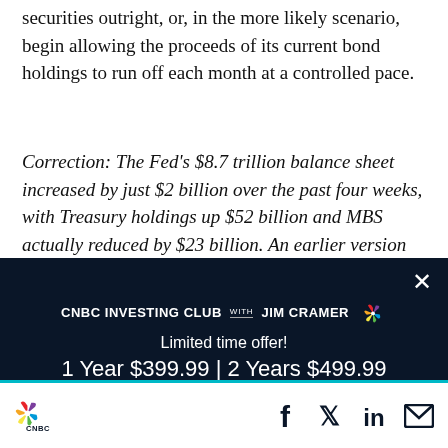securities outright, or, in the more likely scenario, begin allowing the proceeds of its current bond holdings to run off each month at a controlled pace.
Correction: The Fed's $8.7 trillion balance sheet increased by just $2 billion over the past four weeks, with Treasury holdings up $52 billion and MBS actually reduced by $23 billion. An earlier version
[Figure (infographic): CNBC Investing Club with Jim Cramer advertisement modal. Dark navy background. Text: 'Limited time offer! 1 Year $399.99 | 2 Years $499.99'. Button: 'BECOME A MEMBER'. Close X button in top right.]
CNBC logo and social media icons: Facebook, Twitter, LinkedIn, Email